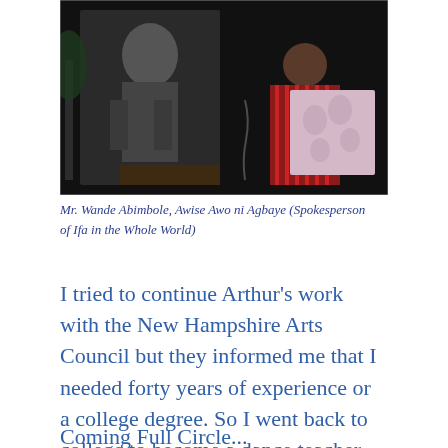[Figure (photo): A person in traditional West African attire stands in front of a large black-and-white portrait photograph in a dark setting.]
Mr. Wande Abimbole, Awise Awo ni Agbaye (Spokesperson of Ifa in the Whole World)
I tried to continue Arthur's work with the New Hampshire Arts Council but they informed me that I needed forty years of experience or a college degree. So I went back to college to become a dance teacher. My life took some interesting turns which led me to become a yoga teacher.
Coming Full Circle...